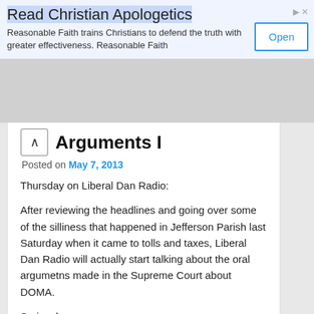[Figure (screenshot): Advertisement banner for Christian Apologetics app with title 'Read Christian Apologetics', description text, and an Open button]
Arguments I
Posted on May 7, 2013
Thursday on Liberal Dan Radio:
After reviewing the headlines and going over some of the silliness that happened in Jefferson Parish last Saturday when it came to tolls and taxes, Liberal Dan Radio will actually start talking about the oral argumetns made in the Supreme Court about DOMA.
Seriously.
That, plus the tweet of the week and words of redneck wisdom, on Liberal Dan Radio: Talk from the left, that's right.